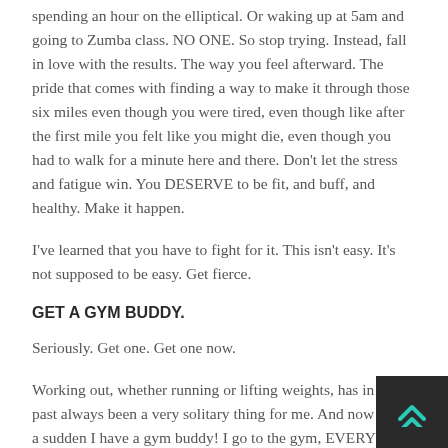spending an hour on the elliptical. Or waking up at 5am and going to Zumba class. NO ONE. So stop trying. Instead, fall in love with the results. The way you feel afterward. The pride that comes with finding a way to make it through those six miles even though you were tired, even though like after the first mile you felt like you might die, even though you had to walk for a minute here and there. Don't let the stress and fatigue win. You DESERVE to be fit, and buff, and healthy. Make it happen.
I've learned that you have to fight for it. This isn't easy. It's not supposed to be easy. Get fierce.
GET A GYM BUDDY.
Seriously. Get one. Get one now.
Working out, whether running or lifting weights, has in the past always been a very solitary thing for me. And now all of a sudden I have a gym buddy! I go to the gym, EVERY morning, even if it's a rest day and I'm just walking on the treadmill, enjoying some History channel and conversation. There's someone else counting on me to be there. There's someone I want to see there. It makes a world of difference! It also means I have someone to talk to about my